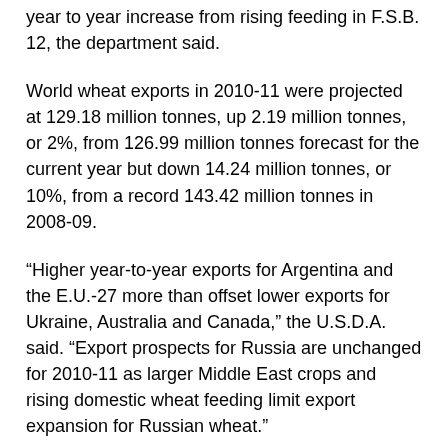year to year increase from rising feeding in F.S.B. 12, the department said.
World wheat exports in 2010-11 were projected at 129.18 million tonnes, up 2.19 million tonnes, or 2%, from 126.99 million tonnes forecast for the current year but down 14.24 million tonnes, or 10%, from a record 143.42 million tonnes in 2008-09.
“Higher year-to-year exports for Argentina and the E.U.-27 more than offset lower exports for Ukraine, Australia and Canada,” the U.S.D.A. said. “Export prospects for Russia are unchanged for 2010-11 as larger Middle East crops and rising domestic wheat feeding limit export expansion for Russian wheat.”
The U.S.D.A. noted China wheat stocks in 2010-11 were expected to rise 8.25 million tonnes, ending the year at 63.69 million tonnes compared with beginning stocks forecast at